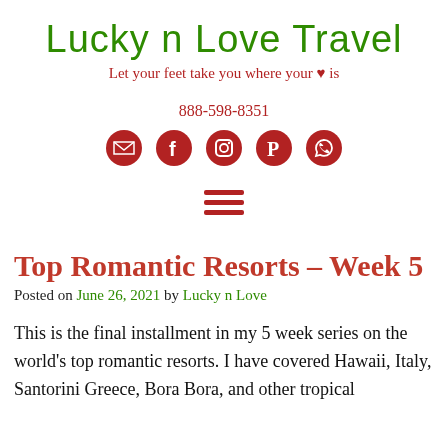Lucky n Love Travel
Let your feet take you where your ♥ is
888-598-8351
[Figure (infographic): Row of 5 social media icons (email, Facebook, Instagram, Pinterest, WhatsApp) in dark red circles]
[Figure (infographic): Hamburger menu icon — three horizontal dark red lines]
Top Romantic Resorts – Week 5
Posted on June 26, 2021 by Lucky n Love
This is the final installment in my 5 week series on the world's top romantic resorts. I have covered Hawaii, Italy, Santorini Greece, Bora Bora, and other tropical